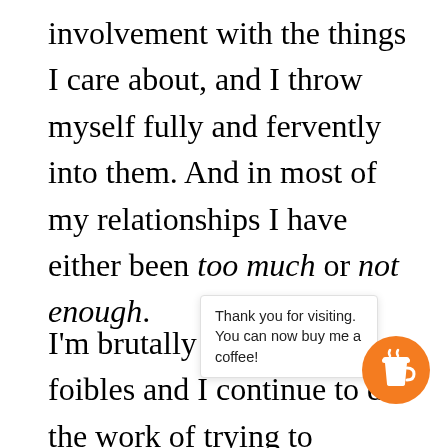involvement with the things I care about, and I throw myself fully and fervently into them. And in most of my relationships I have either been too much or not enough.
I'm brutally aware of my foibles and I continue to do the work of trying to smooth-out, or at least dull-down, the serrated edges of myse[lf] can[…] better. [… ll a…] require a degree of acceptance. There are
Thank you for visiting. You can now buy me a coffee!